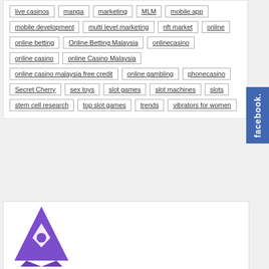live casinos, manga, marketing, MLM, mobile app, mobile development, multi level marketing, nft market, online, online betting, Online Betting Malaysia, onlinecasino, online casino, online Casino Malaysia, online casino malaysia free credit, online gambling, phonecasino, Secret Cherry, sex toys, slot games, slot machines, slots, stem cell research, top slot games, trends, vibrators for women
[Figure (logo): Purple rocket/pin icon logo at bottom of page]